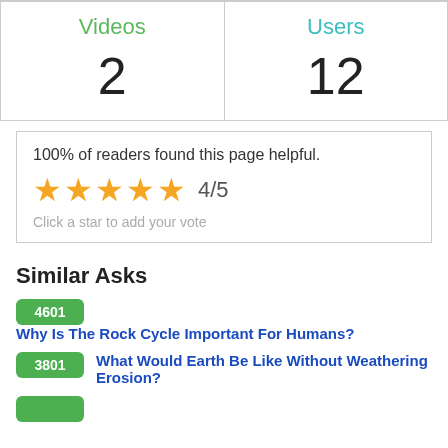| Videos | Users |
| --- | --- |
| 2 | 12 |
100% of readers found this page helpful.
★★★★★ 4/5
Click a star to add your vote
Similar Asks
4601 Why Is The Rock Cycle Important For Humans?
3801 What Would Earth Be Like Without Weathering Erosion?